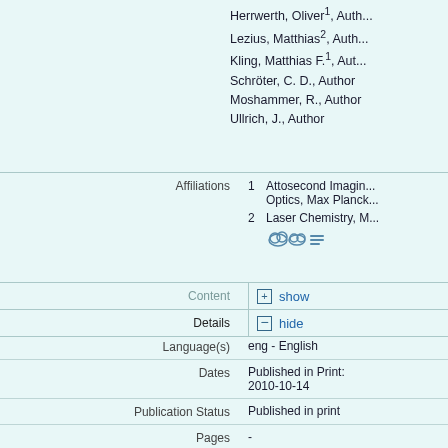Herrwerth, Oliver¹, Author
Lezius, Matthias², Author
Kling, Matthias F.¹, Author
Schröter, C. D., Author
Moshammer, R., Author
Ullrich, J., Author
Affiliations  1  Attosecond Imaging Optics, Max Planck...
2  Laser Chemistry, M...
Content  [+] show
Details  [-] hide
Language(s)  eng - English
Dates  Published in Print: 2010-10-14
Publication Status  Published in print
Pages  -
Publishing info  -
Table of Contents  -
Rev. Type  Peer
Identifiers  eDoc: 499585
URI: http://iopscience.i...